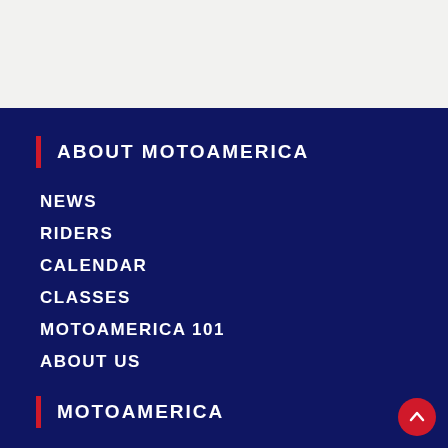ABOUT MOTOAMERICA
NEWS
RIDERS
CALENDAR
CLASSES
MOTOAMERICA 101
ABOUT US
MOTOAMERICA